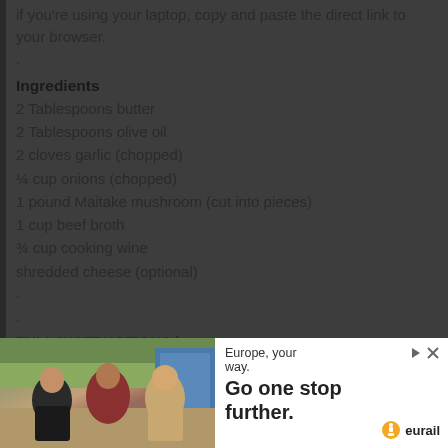if you're using your laptop, copy and paste the direct link to your browser.
·
Ingredients
2 Tablespoons butter
2 Tablespoons olive oil
2 cloves garlic (chopped)
¼ cup onions (chopped)
1 pound Maitake mushroom (cut into pieces)
1 cup beef broth
¾ cup cooking wine
shredded cheese (optional)
·
·
FULL INSTRUCTIONS here -> https://lowcarbyum.com/stir-fried-wild-maitake-mushrooms/
·
·
·
[Figure (photo): Advertisement banner showing three young people (two women and a man) posing outdoors near a colorful vehicle, with Eurail advertisement text reading 'Europe, your way. Go one stop further.' and the Eurail logo.]